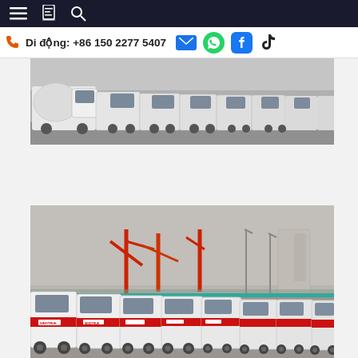Navigation bar with menu, bookmark, and search icons
Di động: +86 150 2277 5407
[Figure (photo): A row of white cement mixer trucks parked in a lot, photographed from the side, showing multiple trucks lined up.]
[Figure (photo): A large fleet of white trucks with red markings parked in an outdoor lot near a port or industrial area with cranes visible in the background.]